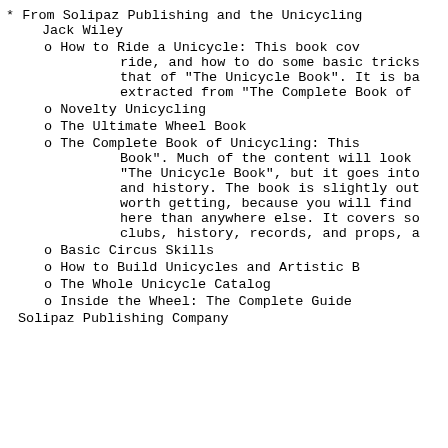* From Solipaz Publishing and the Unicycling Jack Wiley
o How to Ride a Unicycle: This book cov ride, and how to do some basic tricks that of "The Unicycle Book". It is ba extracted from "The Complete Book of
o Novelty Unicycling
o The Ultimate Wheel Book
o The Complete Book of Unicycling: This Book". Much of the content will look "The Unicycle Book", but it goes into and history. The book is slightly out worth getting, because you will find here than anywhere else. It covers so clubs, history, records, and props, a
o Basic Circus Skills
o How to Build Unicycles and Artistic B
o The Whole Unicycle Catalog
o Inside the Wheel: The Complete Guide
Solipaz Publishing Company